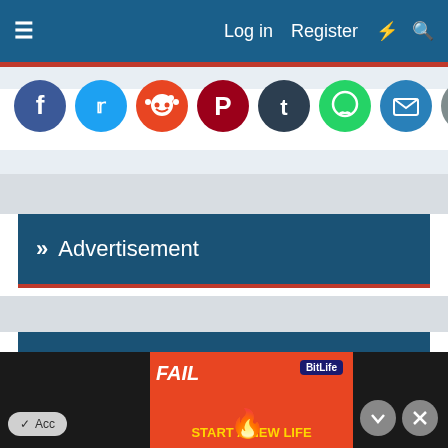≡   Log in   Register   ⚡   🔍
[Figure (screenshot): Social sharing icons row: Facebook (blue), Twitter (light blue), Reddit (orange-red), Pinterest (dark red), Tumblr (dark navy), WhatsApp (green), Email (blue), Link/Copy (gray)]
» Advertisement
» Sponsored
This site uses cookies to help personalise content, tailor your experience and to keep you logged in if you register.
By continuing to use this site, you are consenting to our use of cookies.
[Figure (screenshot): BitLife advertisement banner at bottom: FAIL text with cartoon girl facepalm, fire, BitLife logo, 'START A NEW LIFE' text. Accept button bottom left, X close button bottom right.]